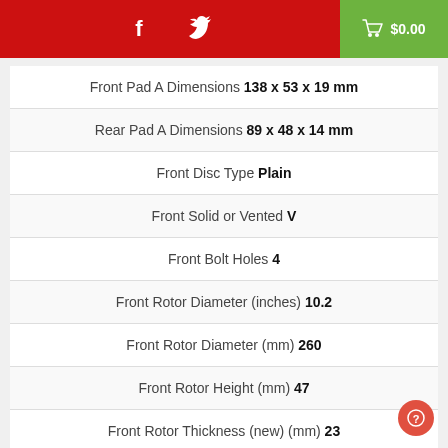Social icons and cart $0.00
| Specification | Value |
| --- | --- |
| Front Pad A Dimensions | 138 x 53 x 19 mm |
| Rear Pad A Dimensions | 89 x 48 x 14 mm |
| Front Disc Type | Plain |
| Front Solid or Vented | V |
| Front Bolt Holes | 4 |
| Front Rotor Diameter (inches) | 10.2 |
| Front Rotor Diameter (mm) | 260 |
| Front Rotor Height (mm) | 47 |
| Front Rotor Thickness (new) (mm) | 23 |
| Front Rotor Thickness (min) (mm) | 21 |